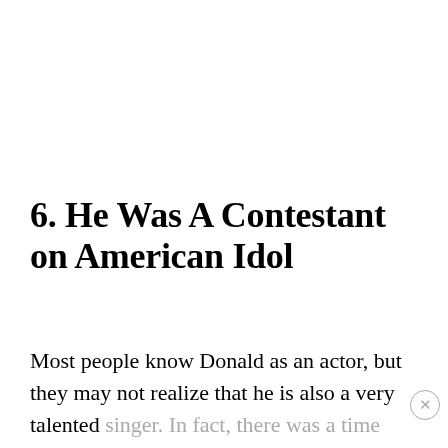6. He Was A Contestant on American Idol
Most people know Donald as an actor, but they may not realize that he is also a very talented singer. In fact, there was a time when he was seriously pursuing a career as a singer. He was a contestant on American Idol during season nine.